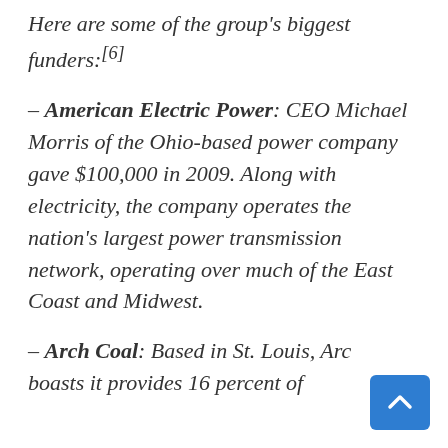Here are some of the group's biggest funders:[6]
– American Electric Power: CEO Michael Morris of the Ohio-based power company gave $100,000 in 2009. Along with electricity, the company operates the nation's largest power transmission network, operating over much of the East Coast and Midwest.
– Arch Coal: Based in St. Louis, Arch Coal boasts it provides 16 percent of